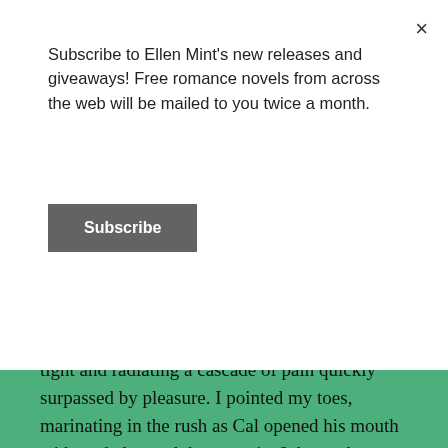Subscribe to Ellen Mint's new releases and giveaways! Free romance novels from across the web will be mailed to you twice a month.
Subscribe
Teeth bit down on my shoulder, the seal pinching tight and radiating a cascade of pain quickly surpassed by pleasure. I pointed my toes, marinating in the rush as Cal opened his mouth wide and clamped down again. Ink caught my wayward leg by wrapping his palm around my thigh.
Flames sparkled in his eyes and he waggled his brows. Worrying his grip back and forth over my thigh, Ink shifted his hand toward my knee. “I believe we no longer need suffer the impunity of these pantaloons. What say